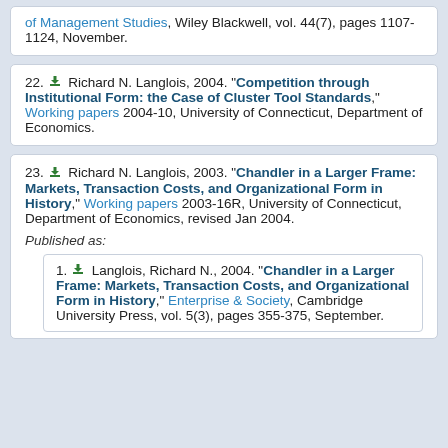of Management Studies, Wiley Blackwell, vol. 44(7), pages 1107-1124, November.
22. Richard N. Langlois, 2004. "Competition through Institutional Form: the Case of Cluster Tool Standards," Working papers 2004-10, University of Connecticut, Department of Economics.
23. Richard N. Langlois, 2003. "Chandler in a Larger Frame: Markets, Transaction Costs, and Organizational Form in History," Working papers 2003-16R, University of Connecticut, Department of Economics, revised Jan 2004.
Published as:
1. Langlois, Richard N., 2004. "Chandler in a Larger Frame: Markets, Transaction Costs, and Organizational Form in History," Enterprise & Society, Cambridge University Press, vol. 5(3), pages 355-375, September.